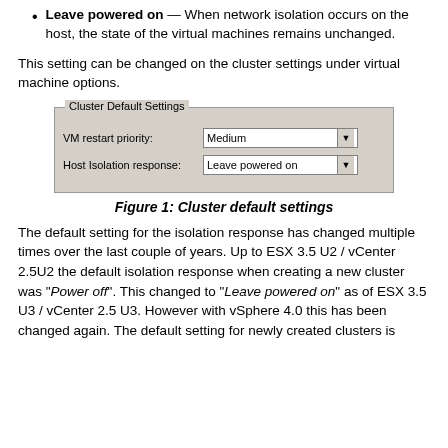Leave powered on — When network isolation occurs on the host, the state of the virtual machines remains unchanged.
This setting can be changed on the cluster settings under virtual machine options.
[Figure (screenshot): Dialog box showing Cluster Default Settings with VM restart priority set to Medium and Host Isolation response set to Leave powered on.]
Figure 1: Cluster default settings
The default setting for the isolation response has changed multiple times over the last couple of years. Up to ESX 3.5 U2 / vCenter 2.5U2 the default isolation response when creating a new cluster was "Power off". This changed to "Leave powered on" as of ESX 3.5 U3 / vCenter 2.5 U3. However with vSphere 4.0 this has been changed again. The default setting for newly created clusters is